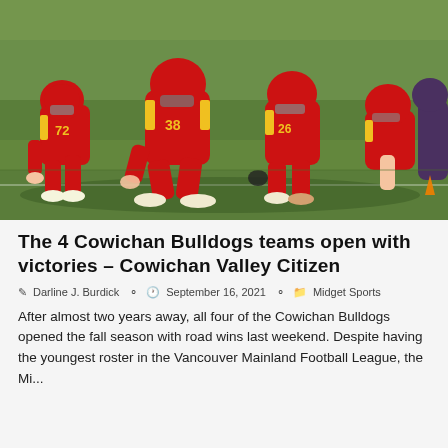[Figure (photo): Football players in red and yellow Cowichan Bulldogs uniforms in a line of scrimmage stance on a green grass field during daytime.]
The 4 Cowichan Bulldogs teams open with victories – Cowichan Valley Citizen
Darline J. Burdick   September 16, 2021   Midget Sports
After almost two years away, all four of the Cowichan Bulldogs opened the fall season with road wins last weekend. Despite having the youngest roster in the Vancouver Mainland Football League, the Mi...